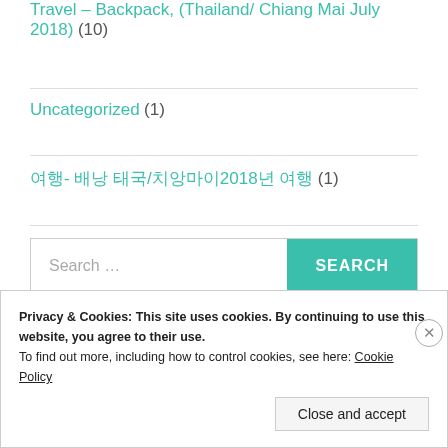Travel – Backpack, (Thailand/ Chiang Mai July 2018) (10)
Uncategorized (1)
여행- 배낭 태국/치앙마이2018년 여행 (1)
Search ...
Privacy & Cookies: This site uses cookies. By continuing to use this website, you agree to their use.
To find out more, including how to control cookies, see here: Cookie Policy
Close and accept